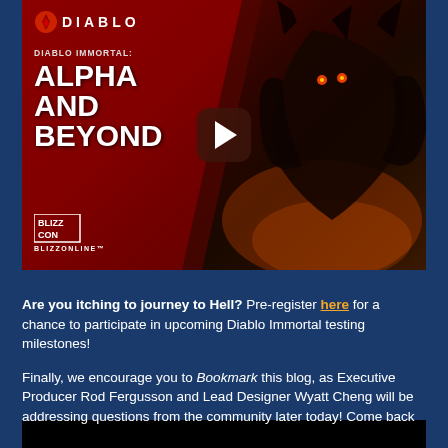[Figure (screenshot): Video thumbnail for 'Diablo Immortal: Alpha and Beyond' from BlizzConline. Dark red background with a demonic creature on the right side. Left side shows the Diablo logo and title text. A play button is centered. BlizzConline logo appears at bottom left.]
Are you itching to journey to Hell? Pre-register here for a chance to participate in upcoming Diablo Immortal testing milestones!
Finally, we encourage you to Bookmark this blog, as Executive Producer Rod Fergusson and Lead Designer Wyatt Cheng will be addressing questions from the community later today! Come back